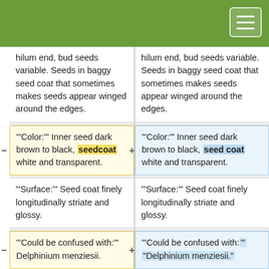hilum end, bud seeds variable. Seeds in baggy seed coat that sometimes makes seeds appear winged around the edges.
hilum end, bud seeds variable. Seeds in baggy seed coat that sometimes makes seeds appear winged around the edges.
'"Color:'" Inner seed dark brown to black, seedcoat white and transparent.
'"Color:'" Inner seed dark brown to black, seed coat white and transparent.
'"Surface:'" Seed coat finely longitudinally striate and glossy.
'"Surface:'" Seed coat finely longitudinally striate and glossy.
'"Could be confused with:'" Delphinium menziesii.
'"Could be confused with:'" "Delphinium menziesii."